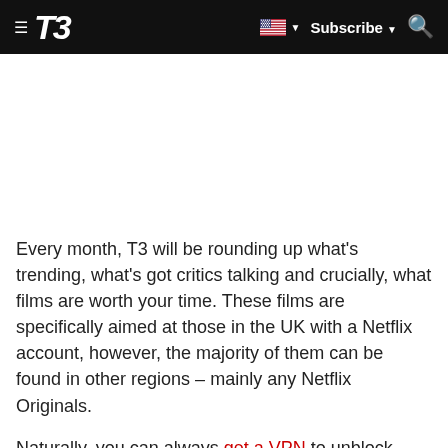≡ T3  [US flag] ▼  Subscribe ▼  🔍
[Figure (other): Advertisement or blank area below the navigation bar]
Every month, T3 will be rounding up what's trending, what's got critics talking and crucially, what films are worth your time. These films are specifically aimed at those in the UK with a Netflix account, however, the majority of them can be found in other regions – mainly any Netflix Originals.
Naturally, you can always get a VPN to unblock your